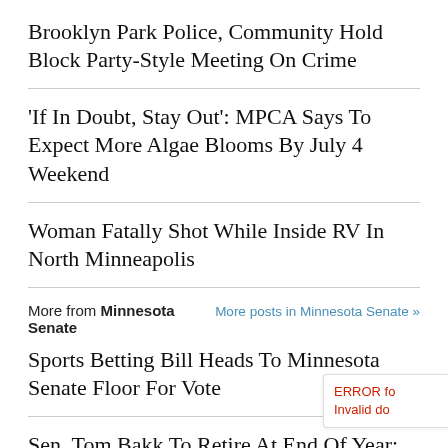Brooklyn Park Police, Community Hold Block Party-Style Meeting On Crime
‘If In Doubt, Stay Out’: MPCA Says To Expect More Algae Blooms By July 4 Weekend
Woman Fatally Shot While Inside RV In North Minneapolis
More from Minnesota Senate   More posts in Minnesota Senate »
Sports Betting Bill Heads To Minnesota Senate Floor For Vote
Sen. Tom Bakk To Retire At End Of Year: ‘Tim Me To Pass The Torch’